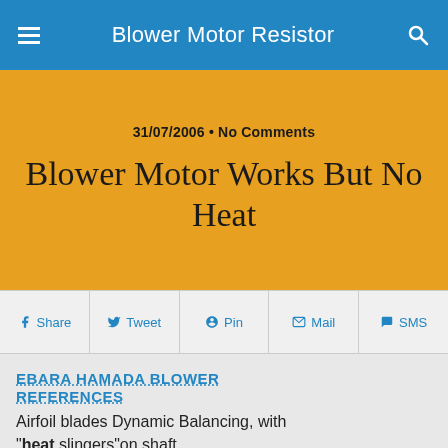Blower Motor Resistor
31/07/2006 • No Comments
Blower Motor Works But No Heat
Share  Tweet  Pin  Mail  SMS
EBARA HAMADA BLOWER REFERENCES
Airfoil blades Dynamic Balancing, with "heat slingers"on shaft NO.24DMA(BD) Impeller Diameter: 3.5 meter 22,300m3/min x 1570mmAq